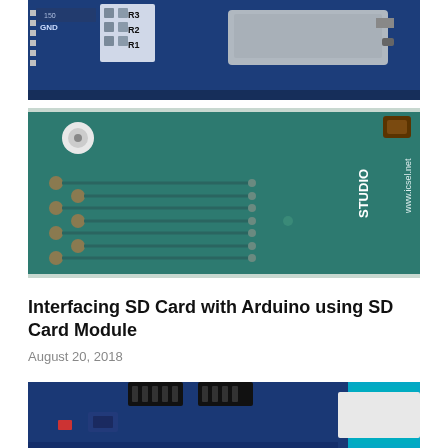[Figure (photo): Top view of a blue SD card module PCB showing resistors labeled R1, R2, R3 and GND, with an SD card slot on the right side.]
[Figure (photo): Bottom view of the same SD card module PCB in teal/green color showing circuit traces, solder points, and text 'STUDIO' and 'www.icsel.net'.]
Interfacing SD Card with Arduino using SD Card Module
August 20, 2018
[Figure (photo): Photo of an Arduino board (blue) with black connectors and a cyan/blue SD card module partially visible on the right.]